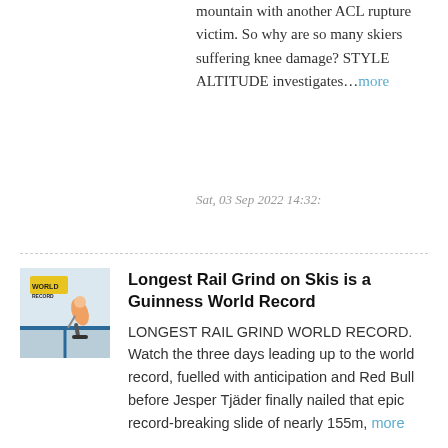mountain with another ACL rupture victim. So why are so many skiers suffering knee damage? STYLE ALTITUDE investigates…more
Sat, 03 Sep 2022 14:32:
[Figure (photo): Thumbnail image for Longest Rail Grind on Skis article showing a skier on a rail with 'World Record' banner]
Longest Rail Grind on Skis is a Guinness World Record
LONGEST RAIL GRIND WORLD RECORD. Watch the three days leading up to the world record, fuelled with anticipation and Red Bull before Jesper Tjäder finally nailed that epic record-breaking slide of nearly 155m, more